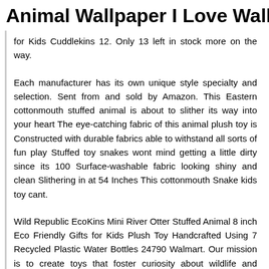Animal Wallpaper I Love Wallpaper
for Kids Cuddlekins 12. Only 13 left in stock more on the way.
Each manufacturer has its own unique style specialty and selection. Sent from and sold by Amazon. This Eastern cottonmouth stuffed animal is about to slither its way into your heart The eye-catching fabric of this animal plush toy is Constructed with durable fabrics able to withstand all sorts of fun play Stuffed toy snakes wont mind getting a little dirty since its 100 Surface-washable fabric looking shiny and clean Slithering in at 54 Inches This cottonmouth Snake kids toy cant.
Wild Republic EcoKins Mini River Otter Stuffed Animal 8 inch Eco Friendly Gifts for Kids Plush Toy Handcrafted Using 7 Recycled Plastic Water Bottles 24790 Walmart. Our mission is to create toys that foster curiosity about wildlife and educate children about the wonders of nature. Our Mission has always been to deliver toys and stuffed